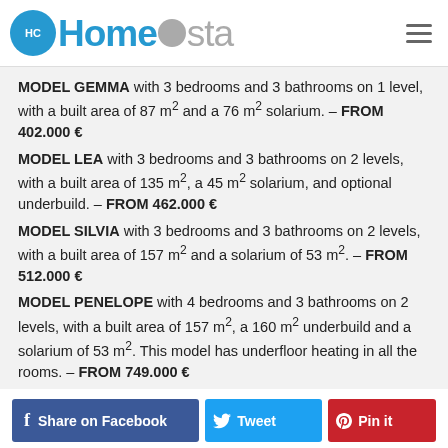HomeCosta
MODEL GEMMA with 3 bedrooms and 3 bathrooms on 1 level, with a built area of 87 m² and a 76 m² solarium. – FROM 402.000 €
MODEL LEA with 3 bedrooms and 3 bathrooms on 2 levels, with a built area of 135 m², a 45 m² solarium, and optional underbuild. – FROM 462.000 €
MODEL SILVIA with 3 bedrooms and 3 bathrooms on 2 levels, with a built area of 157 m² and a solarium of 53 m². – FROM 512.000 €
MODEL PENELOPE with 4 bedrooms and 3 bathrooms on 2 levels, with a built area of 157 m², a 160 m² underbuild and a solarium of 53 m². This model has underfloor heating in all the rooms. – FROM 749.000 €